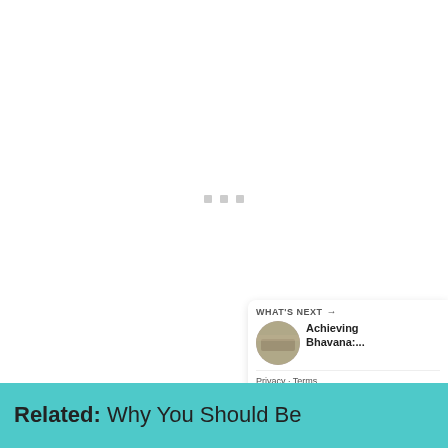[Figure (other): Large white/blank content area with three small gray square dots in the center, representing a loading or placeholder image region]
[Figure (other): Like button: teal circle with heart icon, count of 2, and teal share/add circle button on right side]
[Figure (other): What's Next card with thumbnail image and title 'Achieving Bhavana:...' and Privacy/Terms bar]
Related: Why You Should Be